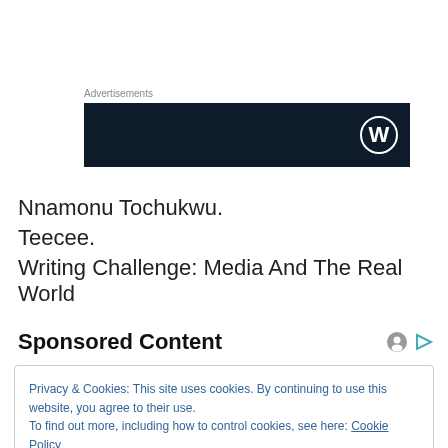Advertisements
[Figure (logo): Dark navy advertisement banner with WordPress logo (W in circle) on the right side]
Nnamonu Tochukwu.
Teecee.
Writing Challenge: Media And The Real World
Sponsored Content
Privacy & Cookies: This site uses cookies. By continuing to use this website, you agree to their use.
To find out more, including how to control cookies, see here: Cookie Policy
Close and accept
[Figure (photo): Partial photo visible at bottom of page showing warm yellow/orange tones]